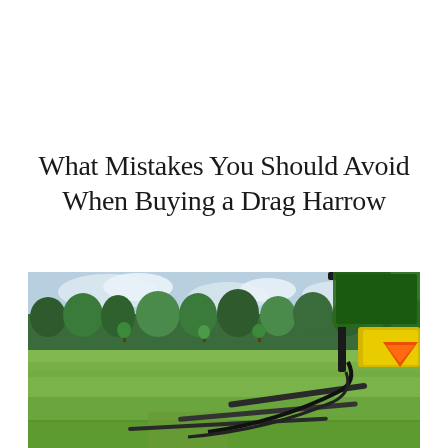What Mistakes You Should Avoid When Buying a Drag Harrow
[Figure (photo): A tractor with an orange triangular reflector and black roll bar frame visible on the right side, positioned in a large green agricultural field with rows of trees lining the background under a partly cloudy sky.]